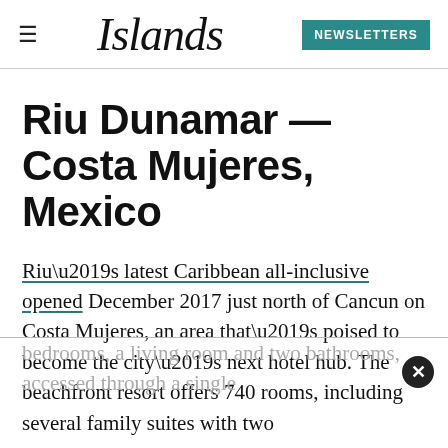Islands | NEWSLETTERS
Riu Dunamar — Costa Mujeres, Mexico
Riu’s latest Caribbean all-inclusive opened December 2017 just north of Cancun on Costa Mujeres, an area that’s poised to become the city’s next hotel hub. The beachfront resort offers 740 rooms, including several family suites with two bedrooms, a living room and two bathrooms, accessed through a single